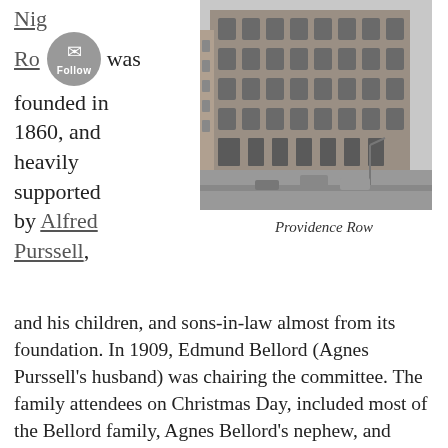was founded in 1860, and heavily supported by Alfred Purssell,
[Figure (photo): Black and white photograph of Providence Row, a large multi-storey brick building viewed from above at an angle, with cars on the street below.]
Providence Row
and his children, and sons-in-law almost from its foundation. In 1909, Edmund Bellord (Agnes Purssell’s husband) was chairing the committee. The family attendees on Christmas Day, included most of the Bellord family, Agnes Bellord’s nephew, and nieces from the Winstanley family. Rex and Florence O’Bryen, who are also there, are Agnes Bellord’s sister’s [ Gertrude O’Bryen (nee Purssell)’s] brother-in-law, and his wife. J.W. (John) Gilbert the Hon.